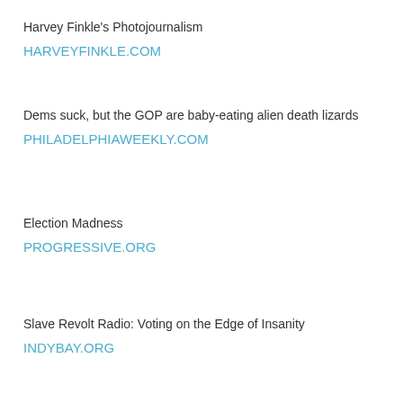Harvey Finkle's Photojournalism
HARVEYFINKLE.COM
Dems suck, but the GOP are baby-eating alien death lizards
PHILADELPHIAWEEKLY.COM
Election Madness
PROGRESSIVE.ORG
Slave Revolt Radio: Voting on the Edge of Insanity
INDYBAY.ORG